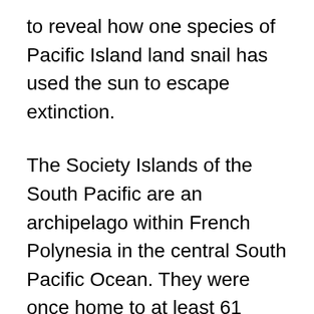to reveal how one species of Pacific Island land snail has used the sun to escape extinction.
The Society Islands of the South Pacific are an archipelago within French Polynesia in the central South Pacific Ocean. They were once home to at least 61 species of tree snail, but this changed dramatically during the second half of the last century because of human intervention and botched land management. The problems began when giant African land snails were introduced to the islands as a potential food source, but this new species soon escaped, bred, and